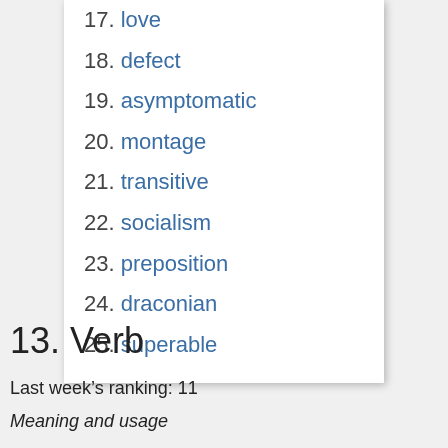17. love
18. defect
19. asymptomatic
20. montage
21. transitive
22. socialism
23. preposition
24. draconian
25. superable
13. Verb
Last week’s ranking: 11
Meaning and usage